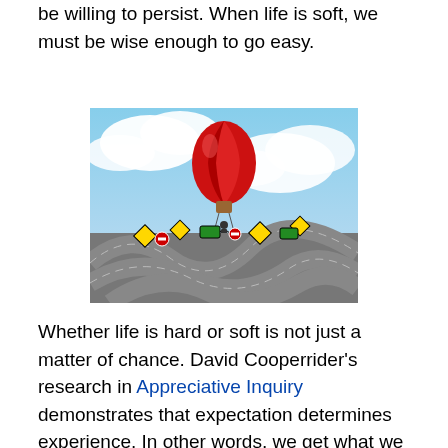be willing to persist. When life is soft, we must be wise enough to go easy.
[Figure (illustration): A person hanging from a red hot air balloon, rising above a maze of tangled roads and street signs below, with a cloudy sky background.]
Whether life is hard or soft is not just a matter of chance. David Cooperrider's research in Appreciative Inquiry demonstrates that expectation determines experience. In other words, we get what we expect to get and see what